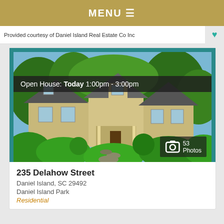MENU ☰
Provided courtesy of Daniel Island Real Estate Co Inc
[Figure (photo): Exterior photo of a two-story residential home at 235 Delahow Street, Daniel Island SC, surrounded by lush green landscaping and mature trees. An open house banner reads 'Open House: Today 1:00pm - 3:00pm' and a badge shows '53 Photos'.]
235 Delahow Street
Daniel Island, SC 29492
Daniel Island Park
Residential